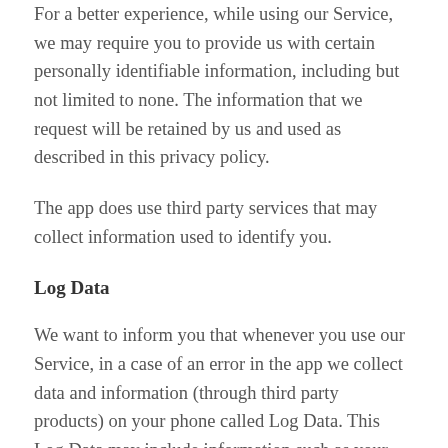For a better experience, while using our Service, we may require you to provide us with certain personally identifiable information, including but not limited to none. The information that we request will be retained by us and used as described in this privacy policy.
The app does use third party services that may collect information used to identify you.
Log Data
We want to inform you that whenever you use our Service, in a case of an error in the app we collect data and information (through third party products) on your phone called Log Data. This Log Data may include information such as your device's Internet Protocol address,